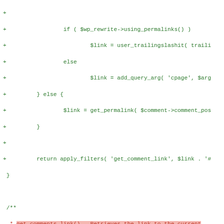Code diff showing PHP WordPress comment link functions with added/removed lines including get_comments_link() and comments_link() refactoring